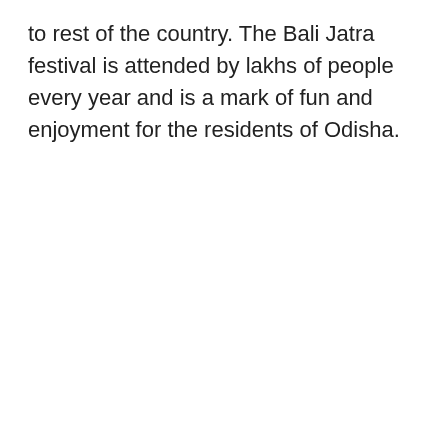to rest of the country. The Bali Jatra festival is attended by lakhs of people every year and is a mark of fun and enjoyment for the residents of Odisha.